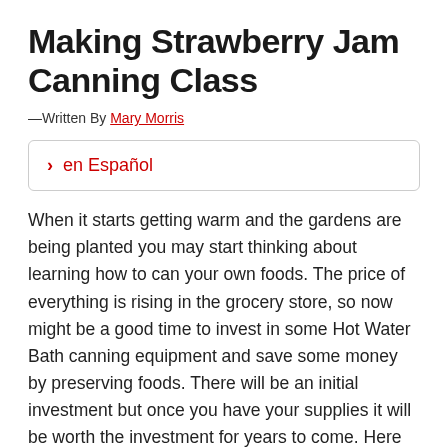Making Strawberry Jam Canning Class
—Written By Mary Morris
> en Español
When it starts getting warm and the gardens are being planted you may start thinking about learning how to can your own foods. The price of everything is rising in the grocery store, so now might be a good time to invest in some Hot Water Bath canning equipment and save some money by preserving foods. There will be an initial investment but once you have your supplies it will be worth the investment for years to come. Here